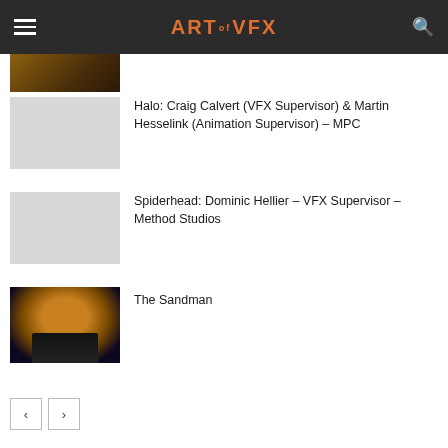ART of VFX
[Figure (screenshot): Partial thumbnail of a dark desert/pyramid scene]
Halo: Craig Calvert (VFX Supervisor) & Martin Hesselink (Animation Supervisor) – MPC
[Figure (screenshot): Light gray placeholder thumbnail for Halo article]
Spiderhead: Dominic Hellier – VFX Supervisor – Method Studios
[Figure (screenshot): Light gray placeholder thumbnail for Spiderhead article]
The Sandman
[Figure (photo): The Sandman poster: dark-robed figure with golden ring halo and group of characters]
< >